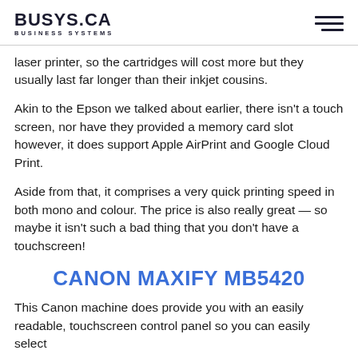BUSYS.CA BUSINESS SYSTEMS
laser printer, so the cartridges will cost more but they usually last far longer than their inkjet cousins.
Akin to the Epson we talked about earlier, there isn't a touch screen, nor have they provided a memory card slot however, it does support Apple AirPrint and Google Cloud Print.
Aside from that, it comprises a very quick printing speed in both mono and colour. The price is also really great — so maybe it isn't such a bad thing that you don't have a touchscreen!
CANON MAXIFY MB5420
This Canon machine does provide you with an easily readable, touchscreen control panel so you can easily select